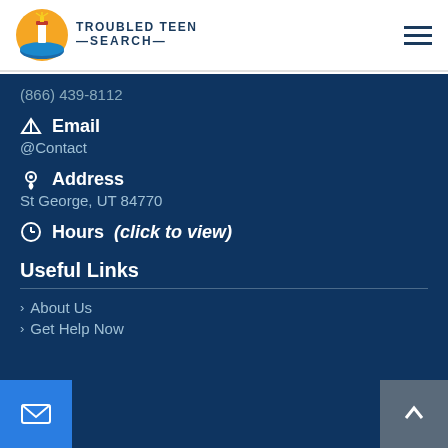[Figure (logo): Troubled Teen Search logo with lighthouse icon and text]
(866) 439-8112
Email
@Contact
Address
St George, UT 84770
Hours (click to view)
Useful Links
About Us
Get Help Now